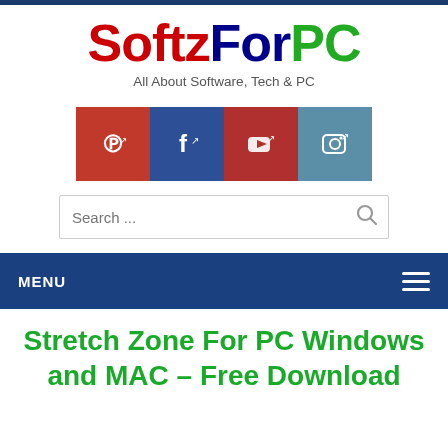[Figure (logo): SoftzForPC website logo with colorful text: 'Softz' in red, 'For' in dark blue, 'PC' in green]
All About Software, Tech & PC
[Figure (infographic): Four social media icon buttons: Pinterest (red), Facebook (dark blue), YouTube (red), Instagram (steel blue)]
[Figure (screenshot): Search bar with placeholder text 'Search ...' and a search icon on the right]
MENU
Stretch Zone For PC Windows and MAC – Free Download